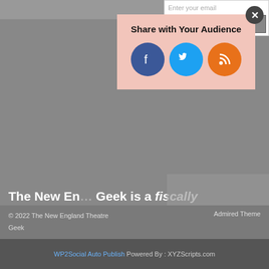[Figure (screenshot): Social media sharing popup with title 'Share with Your Audience' and three social icon circles (Facebook, Twitter, RSS) on a pink background with a close button]
The New England Theatre Geek is a fiscally sponsored project of Fractured Atlas, a 501(c)(3) charity.
[Figure (other): Donate now at Fractured Atlas banner with colorful pinwheel logo on white background]
© 2022 The New England Theatre Geek
Admired Theme
WP2Social Auto Publish Powered By : XYZScripts.com